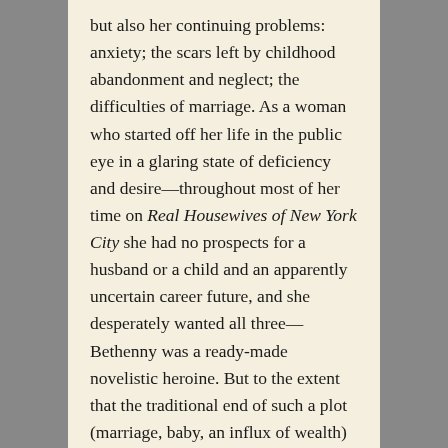but also her continuing problems: anxiety; the scars left by childhood abandonment and neglect; the difficulties of marriage. As a woman who started off her life in the public eye in a glaring state of deficiency and desire—throughout most of her time on Real Housewives of New York City she had no prospects for a husband or a child and an apparently uncertain career future, and she desperately wanted all three—Bethenny was a ready-made novelistic heroine. But to the extent that the traditional end of such a plot (marriage, baby, an influx of wealth) was just the beginning of the spinoff, it makes sense that the show, in order to go forward, would necessarily have to feature her enduring